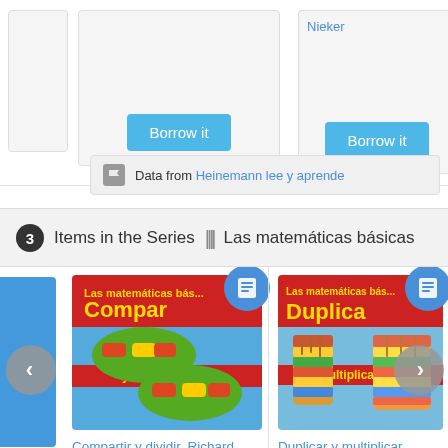[Figure (screenshot): Partial view of two book cards each with a 'Borrow it' button on a light gray background]
Data from Heinemann lee y aprende
3 Items in the Series ||| Las matemáticas básicas
[Figure (photo): Book cover for 'Compartir y dividir' showing cars on green ovals on a blue/red background]
Compartir y dividir, Richard Leffingwell
[Figure (photo): Book cover for 'Duplicar y multiplicar' showing colorful striped gloves on a blue background]
Duplicar y multiplicar, Richard Leffingwell